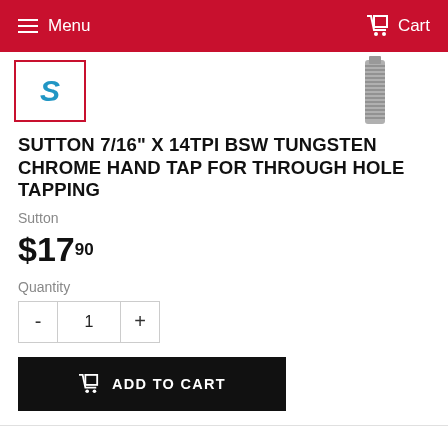Menu   Cart
[Figure (logo): Sutton Tools logo thumbnail with blue italic S on white background, red border]
[Figure (photo): Sutton tungsten chrome hand tap tool, metallic threaded tool shown at upper right]
SUTTON 7/16" X 14TPI BSW TUNGSTEN CHROME HAND TAP FOR THROUGH HOLE TAPPING
Sutton
$17.90
Quantity
1
ADD TO CART